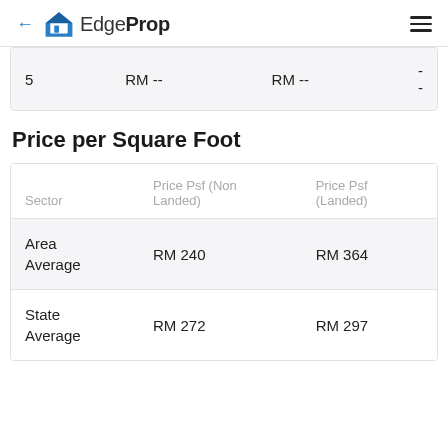EdgeProp
|  |  |  |  |
| --- | --- | --- | --- |
| 5 | RM -- | RM -- | -- |
Price per Square Foot
| Sector | Price Psf (Non Landed) | Price Psf (Landed) |
| --- | --- | --- |
| Area Average | RM 240 | RM 364 |
| State Average | RM 272 | RM 297 |